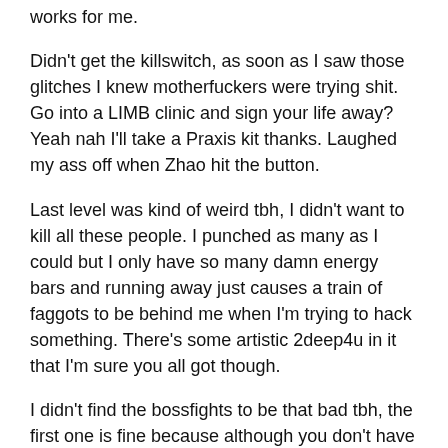works for me.
Didn't get the killswitch, as soon as I saw those glitches I knew motherfuckers were trying shit. Go into a LIMB clinic and sign your life away? Yeah nah I'll take a Praxis kit thanks. Laughed my ass off when Zhao hit the button.
Last level was kind of weird tbh, I didn't want to kill all these people. I punched as many as I could but I only have so many damn energy bars and running away just causes a train of faggots to be behind me when I'm trying to hack something. There's some artistic 2deep4u in it that I'm sure you all got though.
I didn't find the bossfights to be that bad tbh, the first one is fine because although you don't have much ammunition at that point, you can just throw shit and win. The second was kind of funny to me, figuring out her patterns and eventually beating her without being shot once. Last one was the worst tbh, no challenge at all. I do not consider the